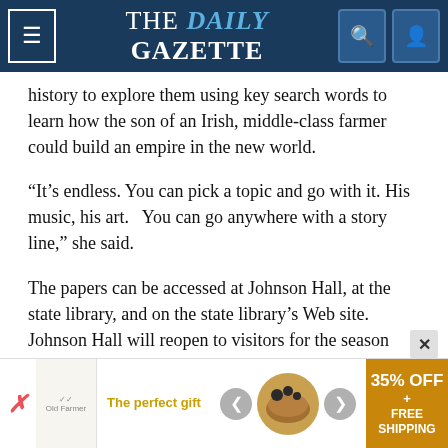THE DAILY GAZETTE
history to explore them using key search words to learn how the son of an Irish, middle-class farmer could build an empire in the new world.
“It’s endless. You can pick a topic and go with it. His music, his art.   You can go anywhere with a story line,” she said.
The papers can be accessed at Johnson Hall, at the state library, and on the state library’s Web site. Johnson Hall will reopen to visitors for the season May 1.
More from The Daily Gazette:
[Figure (other): Advertisement banner: The perfect gift - 35% OFF + FREE SHIPPING]